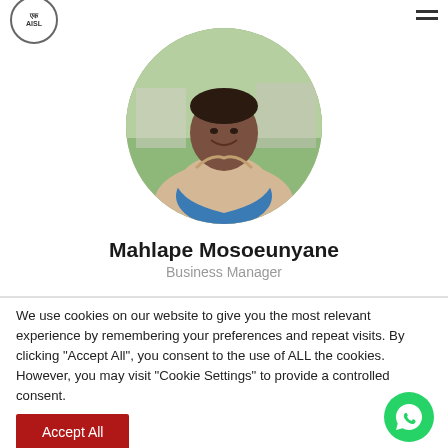AISL logo and hamburger menu
[Figure (photo): Circular profile photo of Mahlape Mosoeunyane, a person wearing a beige blazer over a blue shirt, smiling, with greenery in the background]
Mahlape Mosoeunyane
Business Manager
We use cookies on our website to give you the most relevant experience by remembering your preferences and repeat visits. By clicking "Accept All", you consent to the use of ALL the cookies. However, you may visit "Cookie Settings" to provide a controlled consent.
Accept All